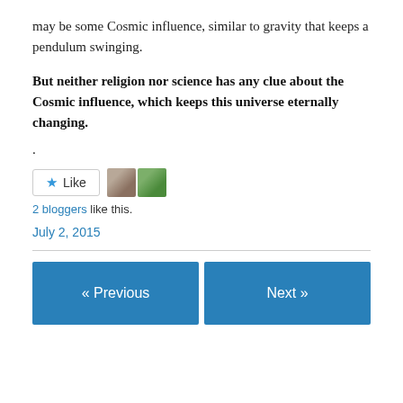may be some Cosmic influence, similar to gravity that keeps a pendulum swinging.
But neither religion nor science has any clue about the Cosmic influence, which keeps this universe eternally changing.
.
[Figure (other): Like button with star icon and two blogger avatar images]
2 bloggers like this.
July 2, 2015
« Previous
Next »